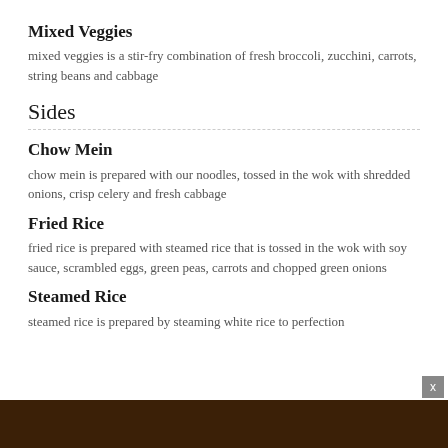Mixed Veggies
mixed veggies is a stir-fry combination of fresh broccoli, zucchini, carrots, string beans and cabbage
Sides
Chow Mein
chow mein is prepared with our noodles, tossed in the wok with shredded onions, crisp celery and fresh cabbage
Fried Rice
fried rice is prepared with steamed rice that is tossed in the wok with soy sauce, scrambled eggs, green peas, carrots and chopped green onions
Steamed Rice
steamed rice is prepared by steaming white rice to perfection